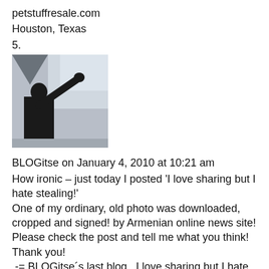petstuffresale.com
Houston, Texas
5.
[Figure (photo): Silhouette of a person with arm raised against a light sky background]
BLOGitse on January 4, 2010 at 10:21 am
How ironic – just today I posted 'I love sharing but I hate stealing!'
One of my ordinary, old photo was downloaded, cropped and signed! by Armenian online news site!
Please check the post and tell me what you think!
Thank you!
.-= BLOGitse´s last blog ..I love sharing but I hate STEALING! =-.